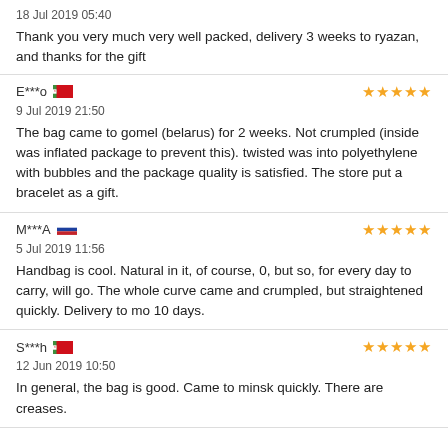18 Jul 2019 05:40
Thank you very much very well packed, delivery 3 weeks to ryazan, and thanks for the gift
E***o  ★★★★★
9 Jul 2019 21:50
The bag came to gomel (belarus) for 2 weeks. Not crumpled (inside was inflated package to prevent this). twisted was into polyethylene with bubbles and the package quality is satisfied. The store put a bracelet as a gift.
M***A  ★★★★★
5 Jul 2019 11:56
Handbag is cool. Natural in it, of course, 0, but so, for every day to carry, will go. The whole curve came and crumpled, but straightened quickly. Delivery to mo 10 days.
S***h  ★★★★★
12 Jun 2019 10:50
In general, the bag is good. Came to minsk quickly. There are creases.